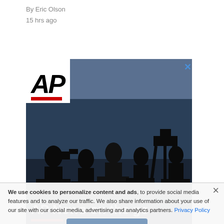By Eric Olson
15 hrs ago
[Figure (photo): AP News advertisement showing silhouettes of camera operators and journalists against a blue sky, with AP logo in top left, headline 'AP News on the go', and 'DOWNLOAD NOW' button]
AP Top 25 Poll
We use cookies to personalize content and ads, to provide social media features and to analyze our traffic. We also share information about your use of our site with our social media, advertising and analytics partners. Privacy Policy
Poll Release: Aug 15
| Rank | Trend | Team |
| --- | --- | --- |